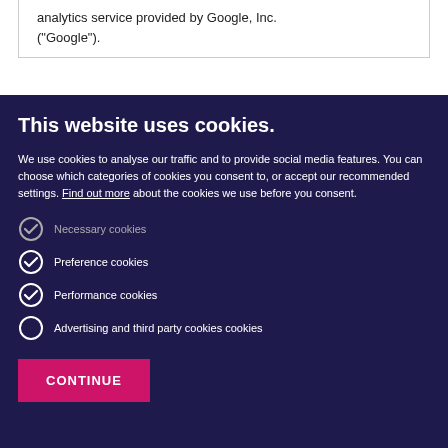analytics service provided by Google, Inc. ("Google").
This website uses cookies.
We use cookies to analyse our traffic and to provide social media features. You can choose which categories of cookies you consent to, or accept our recommended settings. Find out more about the cookies we use before you consent.
Necessary cookies
Preference cookies
Performance cookies
Advertising and third party cookies cookies
CONTINUE